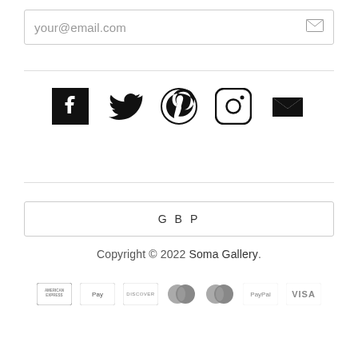your@email.com
[Figure (infographic): Social media icons row: Facebook, Twitter, Pinterest, Instagram, Email]
GBP
Copyright © 2022 Soma Gallery.
[Figure (infographic): Payment method logos: American Express, Apple Pay, Discover, Maestro, MasterCard, PayPal, Visa]